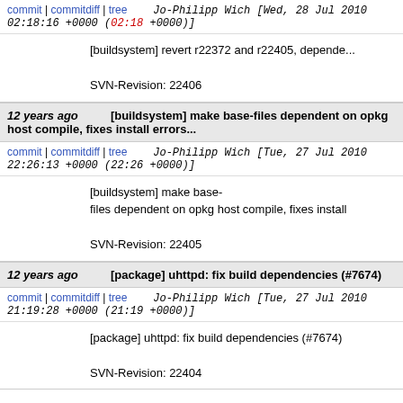commit | commitdiff | tree   Jo-Philipp Wich [Wed, 28 Jul 2010 02:18:16 +0000 (02:18 +0000)]
[buildsystem] revert r22372 and r22405, dependen...

SVN-Revision: 22406
12 years ago   [buildsystem] make base-files dependent on opkg host compile, fixes install errors...
commit | commitdiff | tree   Jo-Philipp Wich [Tue, 27 Jul 2010 22:26:13 +0000 (22:26 +0000)]
[buildsystem] make base-files dependent on opkg host compile, fixes install

SVN-Revision: 22405
12 years ago   [package] uhttpd: fix build dependencies (#7674)
commit | commitdiff | tree   Jo-Philipp Wich [Tue, 27 Jul 2010 21:19:28 +0000 (21:19 +0000)]
[package] uhttpd: fix build dependencies (#7674)

SVN-Revision: 22404